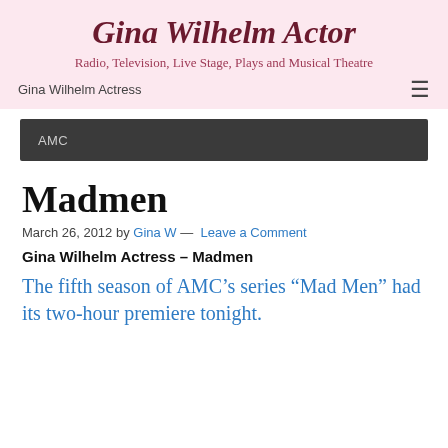Gina Wilhelm Actor
Radio, Television, Live Stage, Plays and Musical Theatre
Gina Wilhelm Actress
AMC
Madmen
March 26, 2012 by Gina W — Leave a Comment
Gina Wilhelm Actress – Madmen
The fifth season of AMC’s series “Mad Men” had its two-hour premiere tonight.